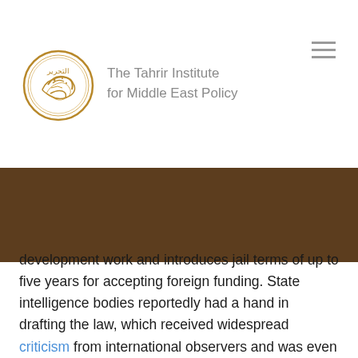[Figure (logo): The Tahrir Institute for Middle East Policy circular logo with Arabic calligraphy in gold on white background with gold circle border]
The Tahrir Institute for Middle East Policy
development work and introduces jail terms of up to five years for accepting foreign funding. State intelligence bodies reportedly had a hand in drafting the law, which received widespread criticism from international observers and was even questioned by some Egyptian members of parliament during debate. Nevertheless, parliament still passed it on November 29, 2016.